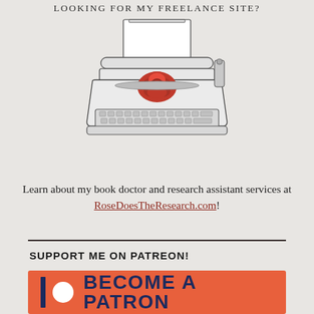LOOKING FOR MY FREELANCE SITE?
[Figure (illustration): Line drawing of a vintage typewriter with a red rose on the paper tray]
Learn about my book doctor and research assistant services at RoseDoesTheResearch.com!
SUPPORT ME ON PATREON!
[Figure (logo): Patreon banner with coral/orange background showing Patreon logo (dark bar and white circle) and text 'BECOME A PATRON']